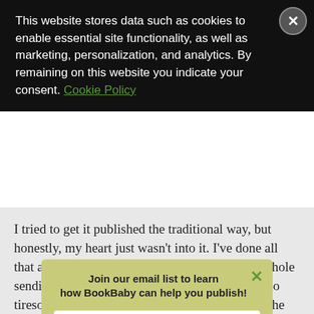This website stores data such as cookies to enable essential site functionality, as well as marketing, personalization, and analytics. By remaining on this website you indicate your consent. Cookie Policy
I tried to get it published the traditional way, but honestly, my heart just wasn't into it. I've done all that already with the Mr. Pants books, and the whole sending-manuscripts-out-to-agents thing is just so tiresome and frustrating, I decided I'd rather go the... BookB...
Since I... og, I figure... publis... ow indep...
[Figure (screenshot): Email signup popup modal with olive/yellow-green background. Header reads 'Join our email list to learn how BookBaby can help you publish!' with a green X close button. Contains a white email input field with placeholder 'Your email' and a teal 'Sign Me Up' button.]